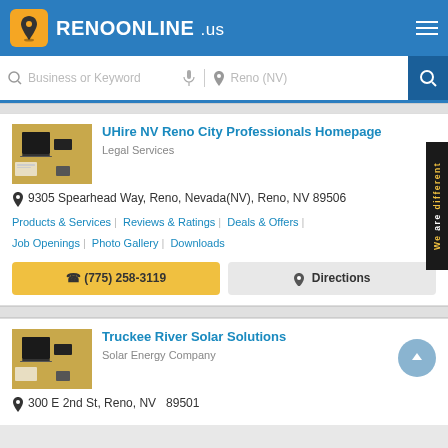RENOONLINE.us
Business or Keyword | Reno (NV)
UHire NV Reno City Professionals Homepage
Legal Services
9305 Spearhead Way, Reno, Nevada(NV), Reno, NV 89506
Products & Services | Reviews & Ratings | Deals & Offers | Job Openings | Photo Gallery | Downloads
(775) 258-3119
Directions
Truckee River Solar Solutions
Solar Energy Company
300 E 2nd St, Reno, NV  89501